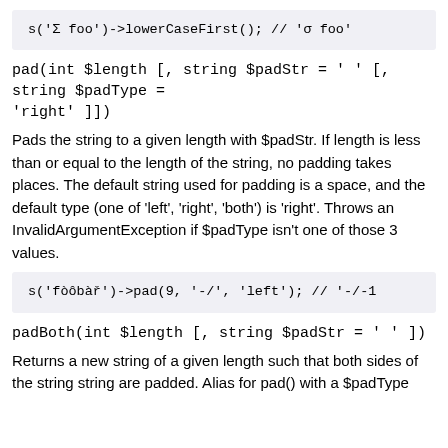[Figure (screenshot): Code block showing: s('Σ foo')->lowerCaseFirst(); // 'σ foo']
pad(int $length [, string $padStr = ' ' [, string $padType = 'right' ]])
Pads the string to a given length with $padStr. If length is less than or equal to the length of the string, no padding takes places. The default string used for padding is a space, and the default type (one of 'left', 'right', 'both') is 'right'. Throws an InvalidArgumentException if $padType isn't one of those 3 values.
[Figure (screenshot): Code block showing: s('fòôbàř')->pad(9, '-/', 'left'); // '-/-1]
padBoth(int $length [, string $padStr = ' ' ])
Returns a new string of a given length such that both sides of the string string are padded. Alias for pad() with a $padType